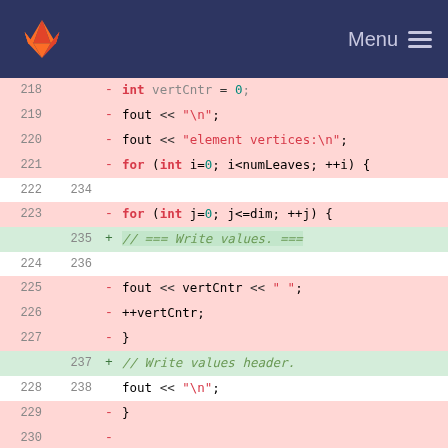[Figure (screenshot): GitLab header with fox logo and Menu hamburger icon on dark navy background]
Code diff view showing lines 218-241 of a C++ source file, with deletions (red) and additions (green). Lines show fout << operations, for loops, and comments about writing values.